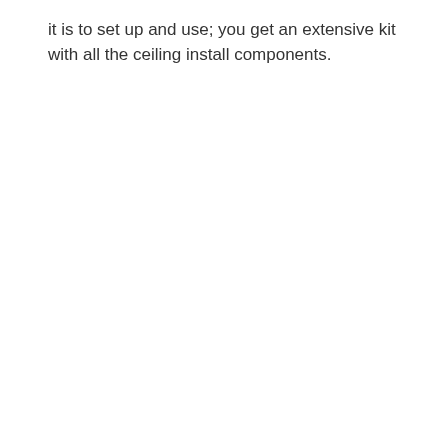it is to set up and use; you get an extensive kit with all the ceiling install components.